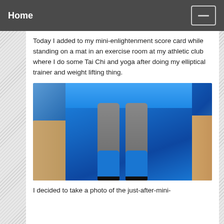Home
Today I added to my mini-enlightenment score card while standing on a mat in an exercise room at my athletic club where I do some Tai Chi and yoga after doing my elliptical trainer and weight lifting thing.
[Figure (photo): Overhead view of two feet in blue yoga/toe socks standing on a blue exercise mat on a wood floor.]
I decided to take a photo of the just-after-mini-